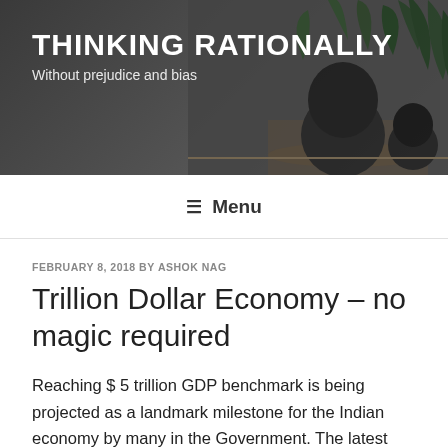THINKING RATIONALLY
Without prejudice and bias
≡ Menu
FEBRUARY 8, 2018 BY ASHOK NAG
Trillion Dollar Economy – no magic required
Reaching $ 5 trillion GDP benchmark is being projected as a landmark milestone for the Indian economy by many in the Government. The latest estimate puts the size of Indian economy, measured as GDP at current market prices, at $2.4 trillion. Does reaching $5 trillion mark reflect a significant achievement or is it really an implicit admission of incipient sluggishness in growth of Indian